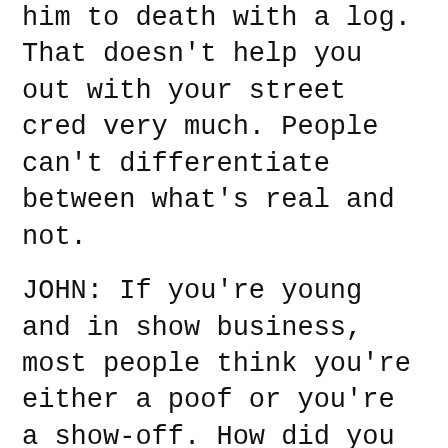him to death with a log. That doesn't help you out with your street cred very much. People can't differentiate between what's real and not.
JOHN: If you're young and in show business, most people think you're either a poof or you're a show-off. How did you cope with that?
MADDEN: Not very well. I was absolutely destroyed at school. I kind of retreated with my one or two close friends. I managed to take over the school radio because that was the only room in the building that was soundproof that we young ones had a